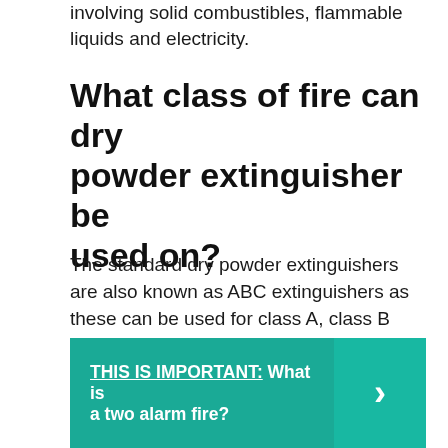involving solid combustibles, flammable liquids and electricity.
What class of fire can dry powder extinguisher be used on?
The standard dry powder extinguishers are also known as ABC extinguishers as these can be used for class A, class B and class C fires. However, these should not be used in enclosed spaces as the dry powder in the extinguisher can be easily inhaled.
THIS IS IMPORTANT:  What is a two alarm fire?